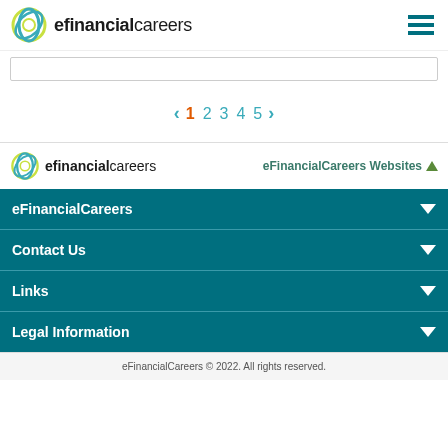efinancialcareers
< 1 2 3 4 5 >
eFinancialCareers Websites
eFinancialCareers
Contact Us
Links
Legal Information
eFinancialCareers © 2022. All rights reserved.